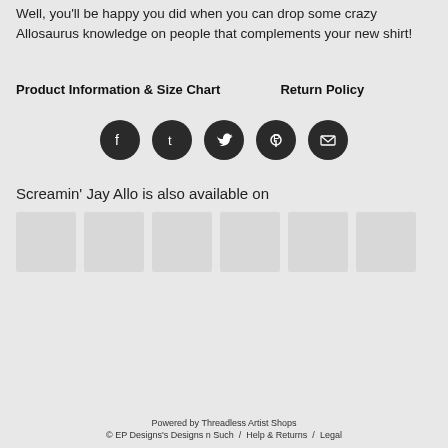Well, you'll be happy you did when you can drop some crazy Allosaurus knowledge on people that complements your new shirt!
Product Information & Size Chart    Return Policy
[Figure (infographic): Five social media share icons in dark circles: Facebook, Tumblr, Twitter, Pinterest, Email]
Screamin' Jay Allo is also available on
[Figure (infographic): Six light grey product thumbnail placeholder images in a horizontal row]
Powered by Threadless Artist Shops
© EP Designs's Designs n Such  /  Help & Returns  /  Legal